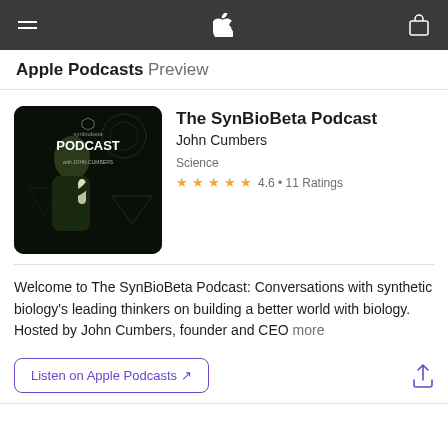Apple Podcasts Preview
[Figure (illustration): SynBioBeta Podcast artwork — dark background with a person holding a microphone, synbiobeta logo and text 'PODCAST with JOHN CUMBERS']
The SynBioBeta Podcast
John Cumbers
Science
4.6 • 11 Ratings
Welcome to The SynBioBeta Podcast: Conversations with synthetic biology's leading thinkers on building a better world with biology. Hosted by John Cumbers, founder and CEO more
Listen on Apple Podcasts ↗